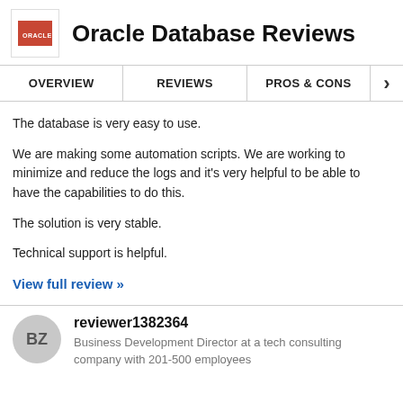Oracle Database Reviews
OVERVIEW   REVIEWS   PROS & CONS
The database is very easy to use.
We are making some automation scripts. We are working to minimize and reduce the logs and it's very helpful to be able to have the capabilities to do this.
The solution is very stable.
Technical support is helpful.
View full review »
reviewer1382364
Business Development Director at a tech consulting company with 201-500 employees